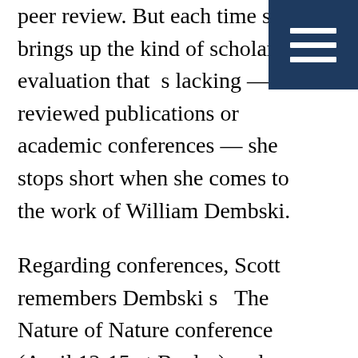peer review. But each time she brings up the kind of scholarly evaluation that s lacking — the reviewed publications or academic conferences — she stops short when she comes to the work of William Dembski.
Regarding conferences, Scott remembers Dembski s   The Nature of Nature conference (April 12-15 at Baylor) and grudgingly admits:   They actually did invite some scientists there.   In fact, the slate of speakers included two Nobel Prize-winning scientists and several members from the National Academy of Sciences. The list was